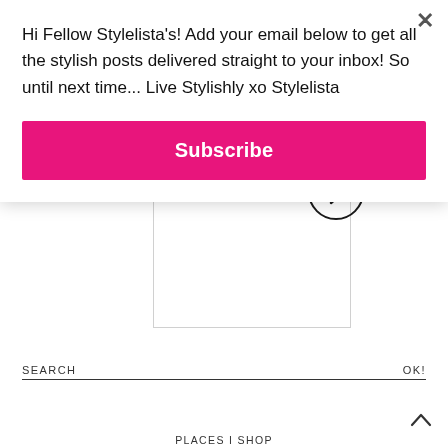Hi Fellow Stylelista's! Add your email below to get all the stylish posts delivered straight to your inbox! So until next time... Live Stylishly xo Stylelista
Subscribe
[Figure (other): Navigation arrow circle (chevron right) for a content slider or carousel]
SEARCH
OK!
PLACES I SHOP